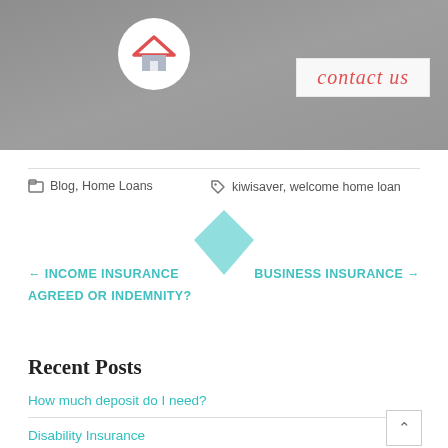[Figure (photo): Banner image: grayscale photo of a person holding a baby, with a circular home logo icon on the left and a 'contact us' text box on the right]
Blog, Home Loans
kiwisaver, welcome home loan
← INCOME INSURANCE AGREED OR INDEMNITY?
BUSINESS INSURANCE →
Recent Posts
How much deposit do I need?
Disability Insurance